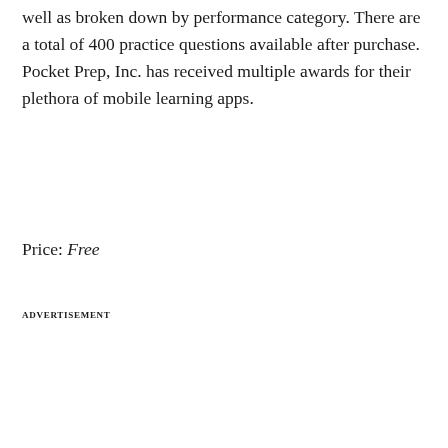well as broken down by performance category. There are a total of 400 practice questions available after purchase. Pocket Prep, Inc. has received multiple awards for their plethora of mobile learning apps.
Price: Free
ADVERTISEMENT